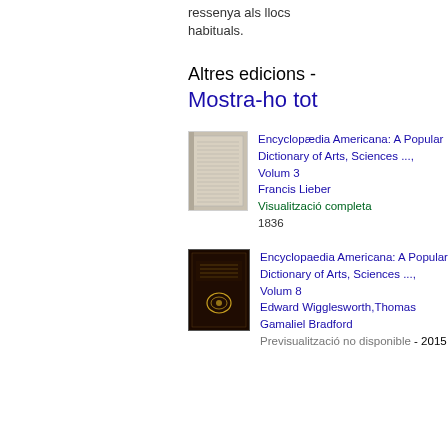ressenya als llocs habituals.
Altres edicions - Mostra-ho tot
[Figure (illustration): Thumbnail of old book cover for Encyclopædia Americana volume, worn pages visible]
Encyclopædia Americana: A Popular Dictionary of Arts, Sciences ..., Volum 3
Francis Lieber
Visualització completa
1836
[Figure (illustration): Thumbnail of dark book cover with gold emblem for Encyclopaedia Americana]
Encyclopaedia Americana: A Popular Dictionary of Arts, Sciences ..., Volum 8
Edward Wigglesworth,Thomas Gamaliel Bradford
Previsualització no disponible - 2015